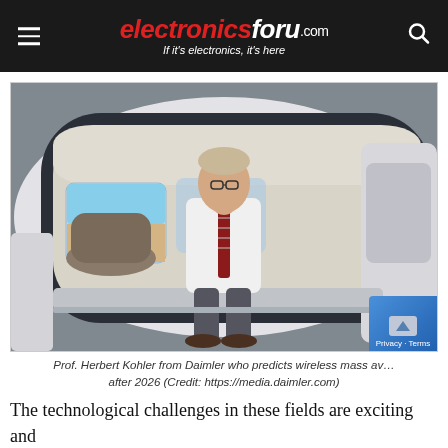electronicsforu.com — If it's electronics, it's here
[Figure (photo): Prof. Herbert Kohler from Daimler sitting in the open door of a futuristic autonomous concept car interior, wearing a white shirt and red tie, with swivel seats visible inside the car.]
Prof. Herbert Kohler from Daimler who predicts wireless mass availability after 2026 (Credit: https://media.daimler.com)
The technological challenges in these fields are exciting and